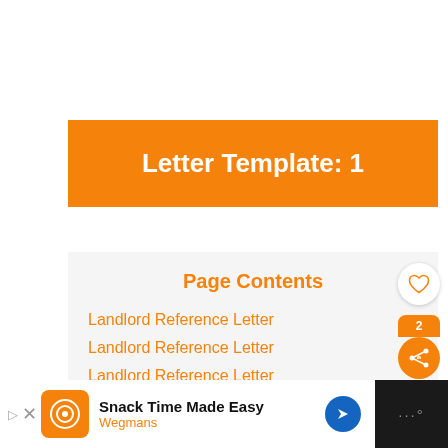Letter Template: 1
Page Contents
Landlord Reference Letter
Landlord Reference Letter
Landlord Reference Letter
Landlord Reference Letter
Snack Time Made Easy Wegmans